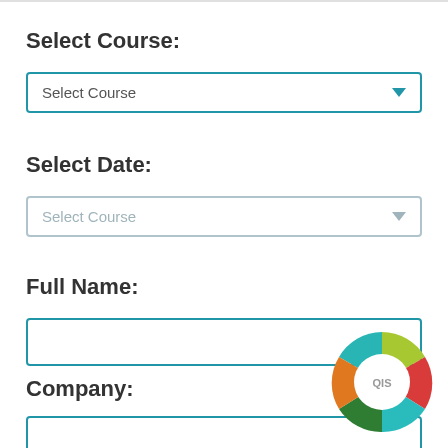Select Course:
[Figure (screenshot): Dropdown selector labeled 'Select Course' with blue border and down arrow]
Select Date:
[Figure (screenshot): Disabled dropdown selector labeled 'Select Course' with muted gray border and down arrow]
Full Name:
[Figure (screenshot): Empty text input box with blue border for Full Name]
Company:
[Figure (screenshot): Empty text input box with blue border for Company]
[Figure (donut-chart): Colorful donut chart with 6 segments (teal, yellow-green, red, teal-blue, green, orange) and 'QIS' text in center]